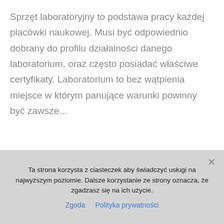Sprzęt laboratoryjny to podstawa pracy każdej placówki naukowej. Musi być odpowiednio dobrany do profilu działalności danego laboratorium, oraz często posiadać właściwe certyfikaty. Laboratorium to bez wątpienia miejsce w którym panujące warunki powinny być zawsze...
Ta strona korzysta z ciasteczek aby świadczyć usługi na najwyższym poziomie. Dalsze korzystanie ze strony oznacza, że zgadzasz się na ich użycie.
Zgoda  Polityka prywatności